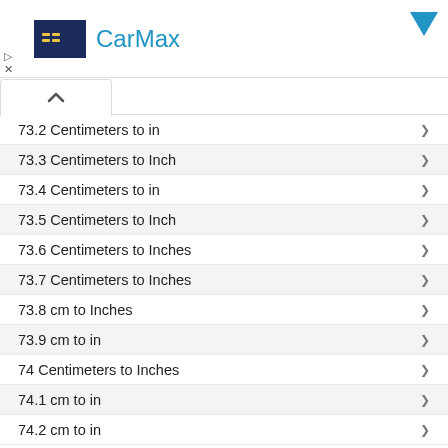CarMax
73.2 Centimeters to in
73.3 Centimeters to Inch
73.4 Centimeters to in
73.5 Centimeters to Inch
73.6 Centimeters to Inches
73.7 Centimeters to Inches
73.8 cm to Inches
73.9 cm to in
74 Centimeters to Inches
74.1 cm to in
74.2 cm to in